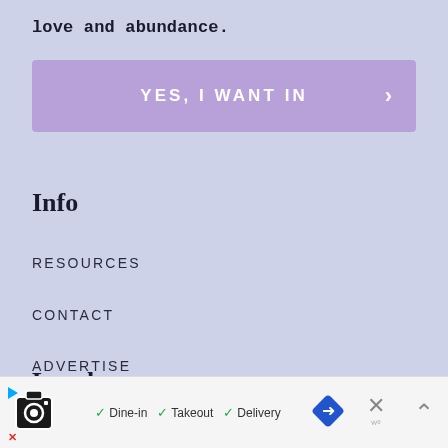love and abundance.
[Figure (other): Purple CTA button reading 'YES, I WANT IN' with a right arrow chevron]
Info
RESOURCES
CONTACT
ADVERTISE
TESTIMONIALS
Legal
[Figure (other): Advertisement bar at the bottom showing a restaurant with Dine-in, Takeout, Delivery options and a map pin icon]